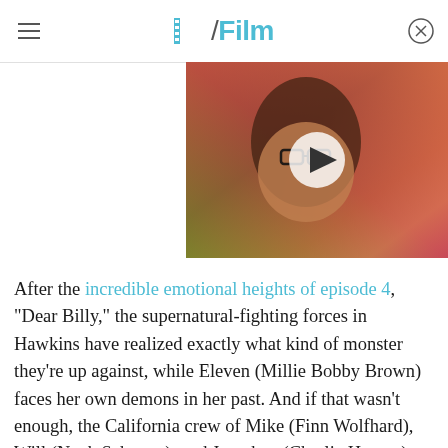/Film
[Figure (photo): Video thumbnail showing a man with dark hair and thick-rimmed glasses against a colorful background, with a white play button circle overlay.]
After the incredible emotional heights of episode 4, "Dear Billy," the supernatural-fighting forces in Hawkins have realized exactly what kind of monster they're up against, while Eleven (Millie Bobby Brown) faces her own demons in her past. And if that wasn't enough, the California crew of Mike (Finn Wolfhard), Will (Noah Schnapp), and Jonathan (Charlie Heaton) are trying to find a way to figure out where Eleven went and have gone on a wild road trip courtesy of